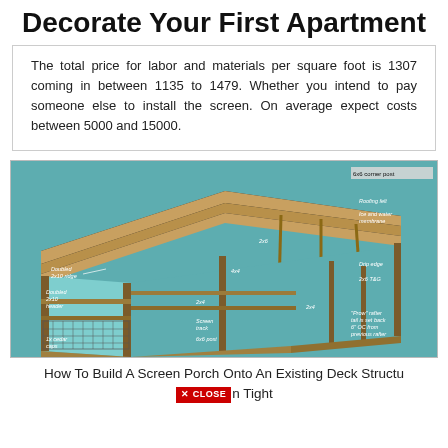Decorate Your First Apartment
The total price for labor and materials per square foot is 1307 coming in between 1135 to 1479. Whether you intend to pay someone else to install the screen. On average expect costs between 5000 and 15000.
[Figure (engineering-diagram): Illustrated engineering diagram of a screen porch structure showing labeled components including: 6x6 corner post, Doubled 2x10 ridge, Roofing felt, Ice and water membrane, 2x6, Doubled 2x10 header, 4x4, Drip edge, 2x6 T&G, 2x4, Screen track, 6x6 post, 1x cedar caps, 'Prow' rafter tail is set back 6" OC from previous rafter. The structure is shown in a 3D cutaway isometric view with teal/aqua background walls and wooden framing elements.]
How To Build A Screen Porch Onto An Existing Deck Structure n Tight